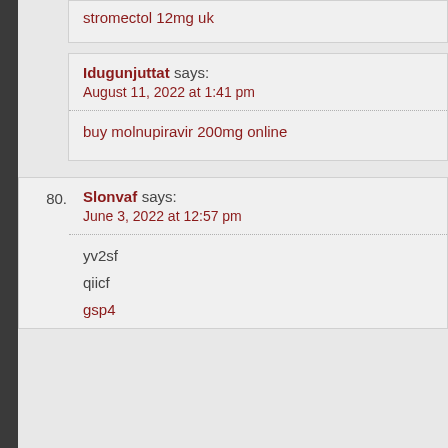stromectol 12mg uk
Idugunjuttat says:
August 11, 2022 at 1:41 pm
buy molnupiravir 200mg online
80.
Slonvaf says:
June 3, 2022 at 12:57 pm
yv2sf
qiicf
gsp4